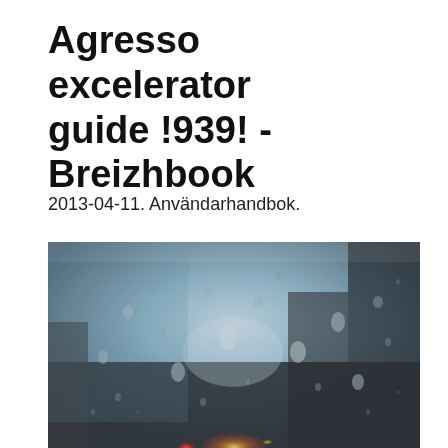Agresso excelerator guide !939! - Breizhbook
2013-04-11. Användarhandbok.
[Figure (photo): A rainy window with water droplets, blurred city lights and buildings visible in the background through the glass. Bokeh effect with warm red and yellow glowing lights at the bottom.]